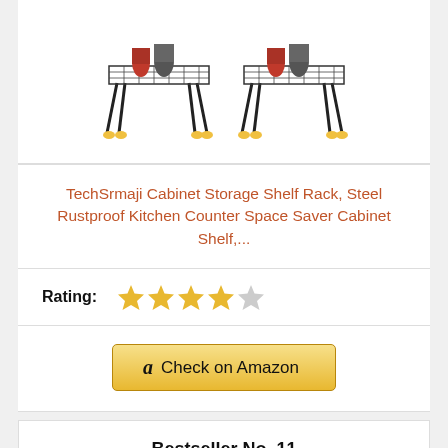[Figure (photo): Two metal cabinet storage shelf racks side by side]
TechSrmaji Cabinet Storage Shelf Rack, Steel Rustproof Kitchen Counter Space Saver Cabinet Shelf,...
Rating: ★★★★☆
Check on Amazon
Bestseller No. 11
[Figure (photo): Tall cylindrical metallic cabinet/locker product image]